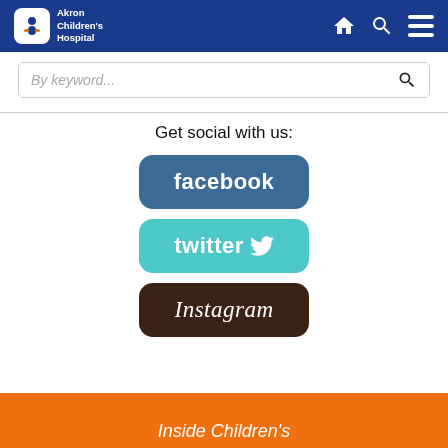[Figure (screenshot): Akron Children's Hospital website header with logo, home, search, and menu icons on blue background]
[Figure (screenshot): Search bar with placeholder text 'By keyword...' and search icon]
Get social with us:
[Figure (illustration): Facebook button - blue rounded rectangle with white text 'facebook']
[Figure (illustration): Twitter button - teal rounded rectangle with white text 'twitter' and bird icon]
[Figure (illustration): Instagram button - dark brown rounded rectangle with white cursive text 'Instagram']
Inside Children's